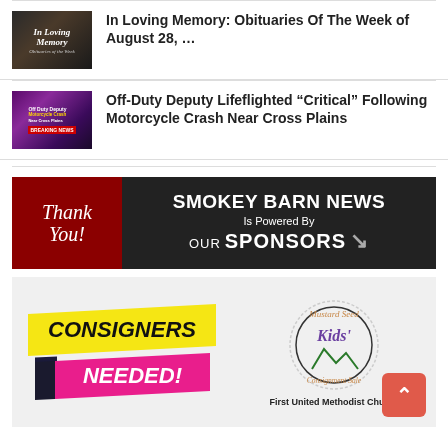[Figure (photo): Thumbnail image for 'In Loving Memory' article showing dark floral design with 'In Loving Memory' text]
In Loving Memory: Obituaries Of The Week of August 28, …
[Figure (photo): Thumbnail image for Off-Duty Deputy article showing purple/dark news graphic with text overlay]
Off-Duty Deputy Lifeflighted “Critical” Following Motorcycle Crash Near Cross Plains
[Figure (infographic): Smokey Barn News sponsor banner. Left side red with 'Thank You!' script text. Right side dark with 'SMOKEY BARN NEWS Is Powered By OUR SPONSORS' with arrow graphic.]
[Figure (infographic): Consigner ad showing 'CONSIGNERS NEEDED!' in yellow and pink ribbons on left, and Mustard Seed Kids' Consignment Sale circle logo on right with 'First United Methodist Church' text below.]